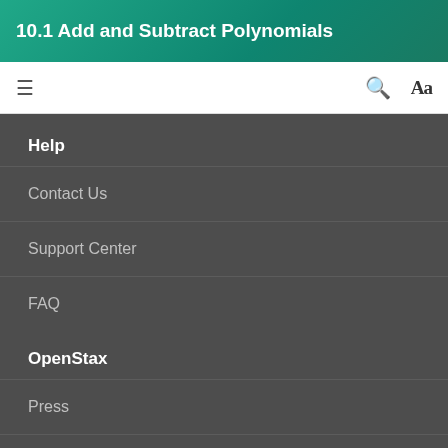10.1 Add and Subtract Polynomials
Help
Contact Us
Support Center
FAQ
OpenStax
Press
Newsletter